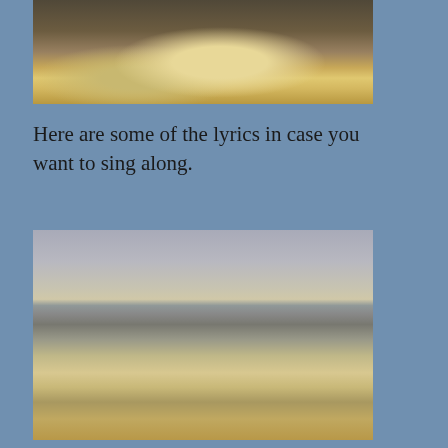[Figure (photo): Ocean water with sunlight reflecting on the surface, viewed close up showing rippling waves and bright silver-golden light reflection on dark water]
Here are some of the lyrics in case you want to sing along.
[Figure (photo): Ocean seascape with cloudy sky above the horizon, waves rolling in the foreground with sunlight reflecting off the water surface creating a silver-golden shimmer]